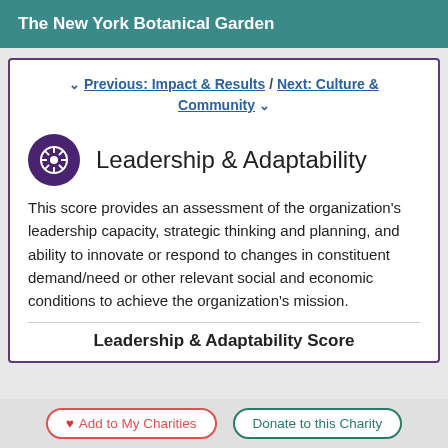The New York Botanical Garden
^ Previous: Impact & Results / Next: Culture & Community v
Leadership & Adaptability
This score provides an assessment of the organization's leadership capacity, strategic thinking and planning, and ability to innovate or respond to changes in constituent demand/need or other relevant social and economic conditions to achieve the organization's mission.
Leadership & Adaptability Score
Add to My Charities  Donate to this Charity